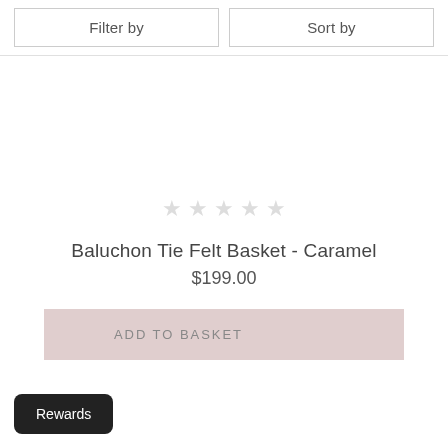Filter by
Sort by
[Figure (other): Five empty star rating icons in light gray]
Baluchon Tie Felt Basket - Caramel
$199.00
ADD TO BASKET
Rewards